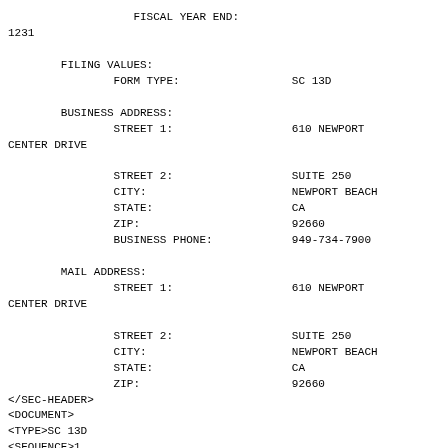FISCAL YEAR END:
1231

        FILING VALUES:
                FORM TYPE:                 SC 13D

        BUSINESS ADDRESS:
                STREET 1:                  610 NEWPORT
CENTER DRIVE

                STREET 2:                  SUITE 250
                CITY:                      NEWPORT BEACH
                STATE:                     CA
                ZIP:                       92660
                BUSINESS PHONE:            949-734-7900

        MAIL ADDRESS:
                STREET 1:                  610 NEWPORT
CENTER DRIVE

                STREET 2:                  SUITE 250
                CITY:                      NEWPORT BEACH
                STATE:                     CA
                ZIP:                       92660
</SEC-HEADER>
<DOCUMENT>
<TYPE>SC 13D
<SEQUENCE>1
<FILENAME>sc13d09455002_07112013.htm
<DESCRIPTION>SCHEDULE 13D
<TEXT>
<html>